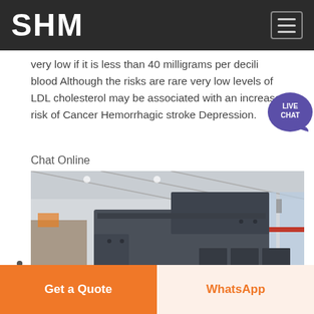SHM
very low if it is less than 40 milligrams per deciliter of blood Although the risks are rare very low levels of LDL cholesterol may be associated with an increased risk of Cancer Hemorrhagic stroke Depression.
Chat Online
[Figure (photo): Industrial heavy machinery (large grey metal crusher or shredder) inside a warehouse/factory hall with high ceiling and large windows.]
Get a Quote
WhatsApp